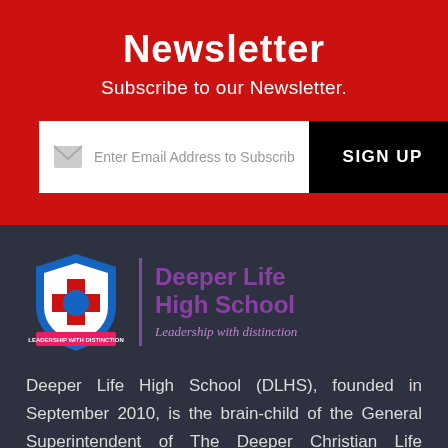Newsletter
Subscribe to our Newsletter.
[Figure (other): Email subscription input field with placeholder text 'Enter Email Address to Subscribe' and a black SIGN UP button]
[Figure (logo): Deeper Life High School logo: shield badge with flame and cross, with school name 'Deeper Life High School' and tagline 'Leadership with distinction']
Deeper Life High School (DLHS), founded in September 2010, is the brain-child of the General Superintendent of The Deeper Christian Life Ministry, Pastor (Dr.) W. F. Kumuyi,